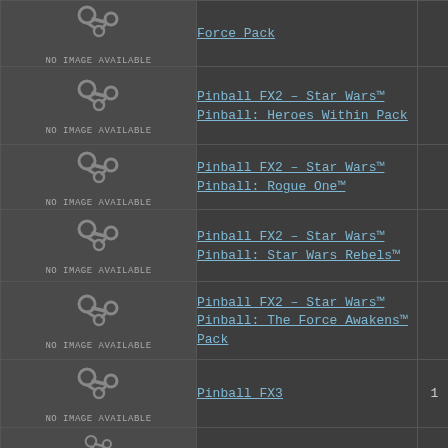| Image | Title | Num |
| --- | --- | --- |
| NO IMAGE AVAILABLE | Force Pack |  |
| NO IMAGE AVAILABLE | Pinball FX2 – Star Wars™ Pinball: Heroes Within Pack |  |
| NO IMAGE AVAILABLE | Pinball FX2 – Star Wars™ Pinball: Rogue One™ |  |
| NO IMAGE AVAILABLE | Pinball FX2 – Star Wars™ Pinball: Star Wars Rebels™ |  |
| NO IMAGE AVAILABLE | Pinball FX2 – Star Wars™ Pinball: The Force Awakens™ Pack |  |
| NO IMAGE AVAILABLE | Pinball FX3 | 1 |
| NO IMAGE AVAILABLE |  |  |